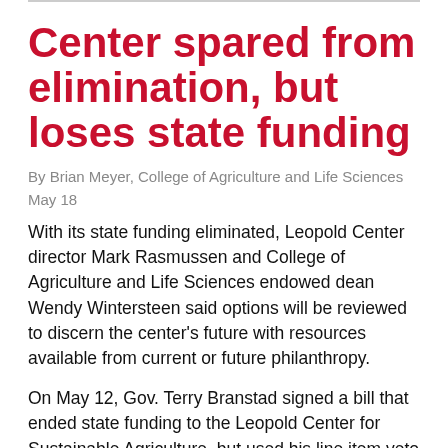Center spared from elimination, but loses state funding
By Brian Meyer, College of Agriculture and Life Sciences
May 18
With its state funding eliminated, Leopold Center director Mark Rasmussen and College of Agriculture and Life Sciences endowed dean Wendy Wintersteen said options will be reviewed to discern the center's future with resources available from current or future philanthropy.
On May 12, Gov. Terry Branstad signed a bill that ended state funding to the Leopold Center for Sustainable Agriculture, but used his line item veto to remove language that would have eliminated the center. University leaders